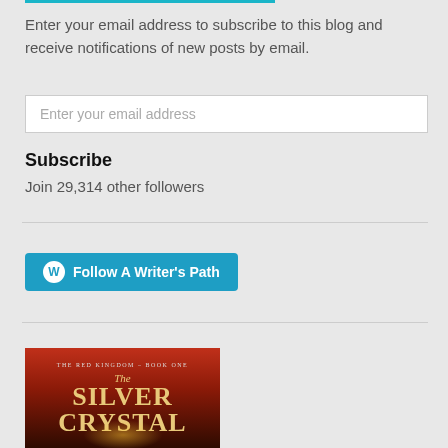Enter your email address to subscribe to this blog and receive notifications of new posts by email.
Enter your email address
Subscribe
Join 29,314 other followers
[Figure (other): Blue button with WordPress logo and text 'Follow A Writer's Path']
[Figure (photo): Book cover for 'The Silver Crystal', The Red Kingdom – Book One, showing a dark red/orange fantasy cover with golden title text]